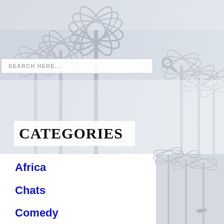[Figure (photo): Misty palm trees against a light grey-blue sky, faded/washed out, serving as a website background image. Palm trees visible on left side and right side with foggy atmosphere.]
SEARCH HERE...
CATEGORIES
Africa
Chats
Comedy